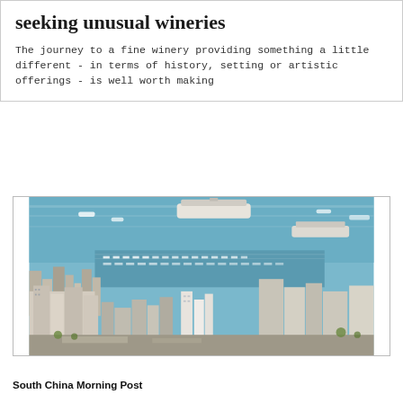seeking unusual wineries
The journey to a fine winery providing something a little different - in terms of history, setting or artistic offerings - is well worth making
[Figure (photo): Aerial view of a coastal city harbor with yachts and cruise ships moored, dense urban buildings in foreground, blue sea in background — resembling Monaco or a Mediterranean city]
South China Morning Post